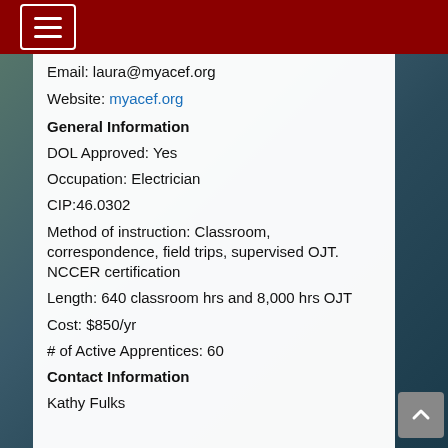Navigation header with hamburger menu
Email: laura@myacef.org
Website: myacef.org
General Information
DOL Approved: Yes
Occupation: Electrician
CIP:46.0302
Method of instruction: Classroom, correspondence, field trips, supervised OJT. NCCER certification
Length: 640 classroom hrs and 8,000 hrs OJT
Cost: $850/yr
# of Active Apprentices: 60
Contact Information
Kathy Fulks